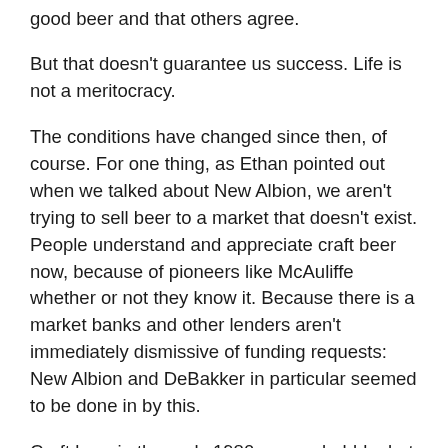good beer and that others agree.
But that doesn't guarantee us success. Life is not a meritocracy.
The conditions have changed since then, of course. For one thing, as Ethan pointed out when we talked about New Albion, we aren't trying to sell beer to a market that doesn't exist. People understand and appreciate craft beer now, because of pioneers like McAuliffe whether or not they know it. Because there is a market banks and other lenders aren't immediately dismissive of funding requests: New Albion and DeBakker in particular seemed to be done in by this.
Craft beer in the early 1980s was a bubble, but no one seemed to know it at the time. There has been a lot of speculation about whether or not we're currently in yet another bubble, if the market can sustain the kind of growth we're currently seeing. I sure as hell hope so, obviously, both for our sake and for our friends who are and will be in operation.